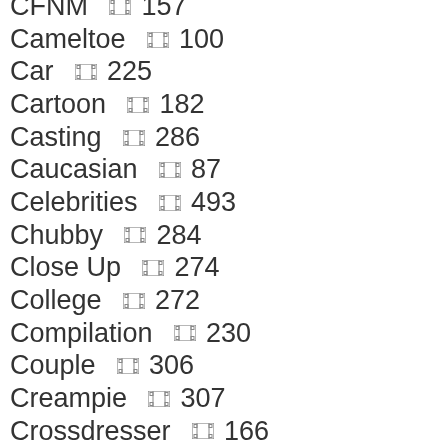CFNM 🎞 157
Cameltoe 🎞 100
Car 🎞 225
Cartoon 🎞 182
Casting 🎞 286
Caucasian 🎞 87
Celebrities 🎞 493
Chubby 🎞 284
Close Up 🎞 274
College 🎞 272
Compilation 🎞 230
Couple 🎞 306
Creampie 🎞 307
Crossdresser 🎞 166
Cuckold 🎞 403
Cum Swap 🎞 50
Cumshot 🎞 279
Deep Throat 🎞 256